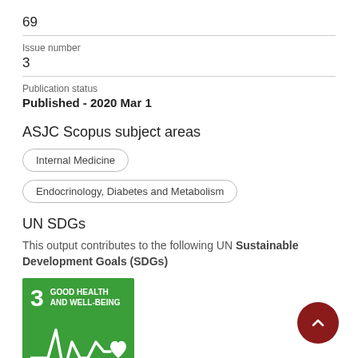69
Issue number
3
Publication status
Published - 2020 Mar 1
ASJC Scopus subject areas
Internal Medicine
Endocrinology, Diabetes and Metabolism
UN SDGs
This output contributes to the following UN Sustainable Development Goals (SDGs)
[Figure (logo): UN SDG Goal 3: Good Health and Well-Being icon — green square with number 3, text 'GOOD HEALTH AND WELL-BEING', and a white heartbeat/health line with heart icon.]